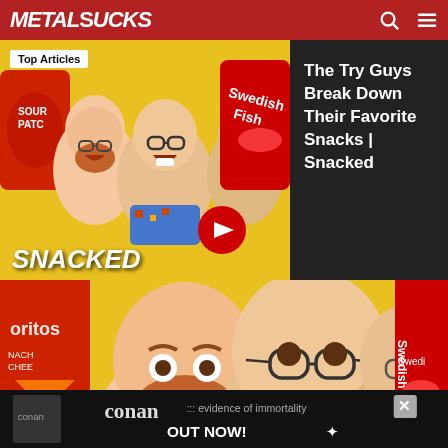MetalSucks
Top Articles
The Try Guys Break Down Their Favorite Snacks | Snacked
[Figure (photo): Three men with surprised expressions on a yellow background with snack packages including Sour Patch, Swedish Fish, and Doritos. Text 'SNACKED' at bottom.]
[Figure (photo): Close-up of three men against yellow background with snack packages including Doritos and Swedish Fish.]
[Figure (photo): Advertisement banner for Conan album 'Evidence of Immortality' - Out Now!]